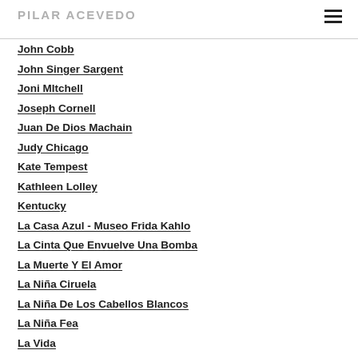PILAR ACEVEDO
John Cobb
John Singer Sargent
Joni MItchell
Joseph Cornell
Juan De Dios Machain
Judy Chicago
Kate Tempest
Kathleen Lolley
Kentucky
La Casa Azul - Museo Frida Kahlo
La Cinta Que Envuelve Una Bomba
La Muerte Y El Amor
La Niña Ciruela
La Niña De Los Cabellos Blancos
La Niña Fea
La Vida
Leonard Cohen